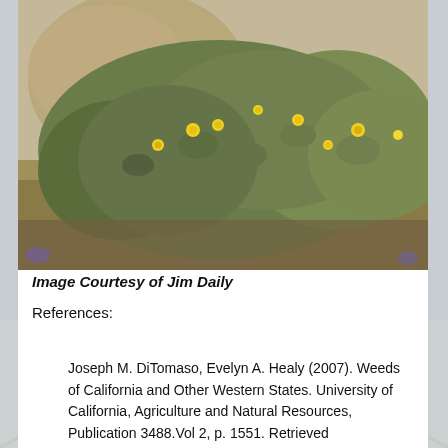[Figure (photo): Photograph of a low-growing plant with yellow flowers and gray-green lobed leaves, growing over dry stony ground.]
Image Courtesy of Jim Daily
References:
Joseph M. DiTomaso, Evelyn A. Healy (2007). Weeds of California and Other Western States. University of California, Agriculture and Natural Resources, Publication 3488.Vol 2, p. 1551. Retrieved